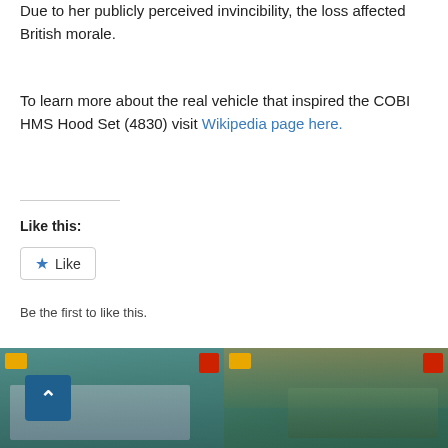Due to her publicly perceived invincibility, the loss affected British morale.
To learn more about the real vehicle that inspired the COBI HMS Hood Set (4830) visit Wikipedia page here.
Like this:
Like
Be the first to like this.
Related products
[Figure (photo): Two COBI model set product boxes partially visible at the bottom of the page, featuring naval/military themed sets with teal/green packaging.]